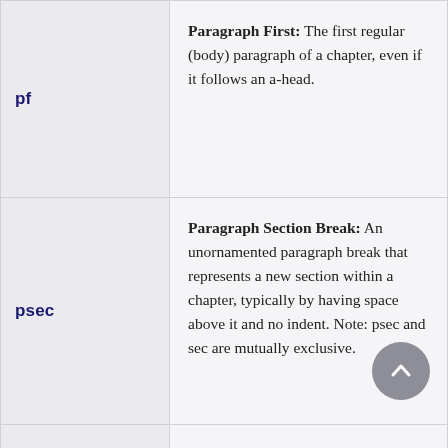| Key | Description |
| --- | --- |
| pf | Paragraph First: The first regular (body) paragraph of a chapter, even if it follows an a-head. |
| psec | Paragraph Section Break: An unornamented paragraph break that represents a new section within a chapter, typically by having space above it and no indent. Note: psec and sec are mutually exclusive. |
| psec1 | Paragraph Section Break Level 1: A second-level psec paragraph in case there are two different psec types that have different spacing |